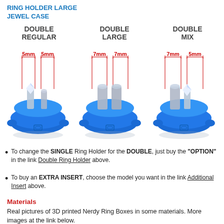RING HOLDER LARGE
JEWEL CASE
[Figure (infographic): Three blue ring holder inserts labeled DOUBLE REGULAR (5mm 5mm), DOUBLE LARGE (7mm 7mm), and DOUBLE MIX (7mm 5mm), each shown with red measurement lines indicating slot widths. The holders are 3D-rendered blue circular discs with ring slots on top.]
To change the SINGLE Ring Holder for the DOUBLE, just buy the "OPTION" in the link Double Ring Holder above.
To buy an EXTRA INSERT, choose the model you want in the link Additional Insert above.
Materials
Real pictures of 3D printed Nerdy Ring Boxes in some materials. More images at the link below.